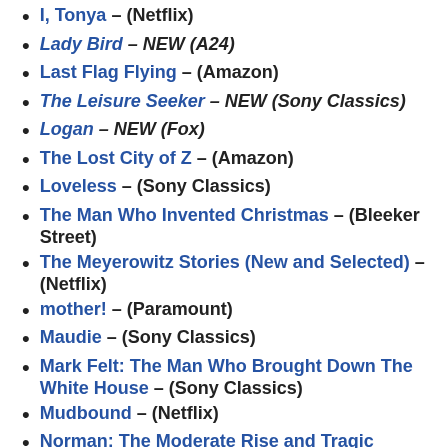I, Tonya – (Netflix)
Lady Bird – NEW (A24)
Last Flag Flying – (Amazon)
The Leisure Seeker – NEW (Sony Classics)
Logan – NEW (Fox)
The Lost City of Z – (Amazon)
Loveless – (Sony Classics)
The Man Who Invented Christmas – (Bleeker Street)
The Meyerowitz Stories (New and Selected) – (Netflix)
mother! – (Paramount)
Maudie – (Sony Classics)
Mark Felt: The Man Who Brought Down The White House – (Sony Classics)
Mudbound – (Netflix)
Norman: The Moderate Rise and Tragic…